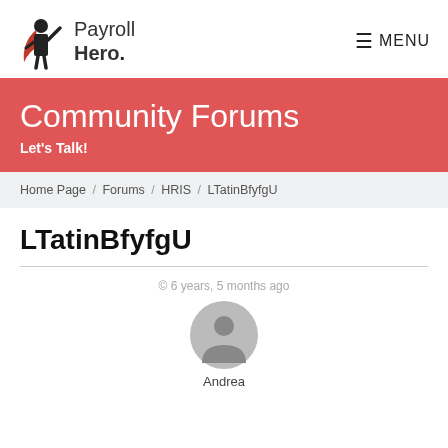[Figure (logo): PayrollHero logo with superhero figure and text 'Payroll Hero.']
≡ MENU
Community Forums
Let's Talk!
Home Page / Forums / HRIS / LTatinBfyfgU
LTatinBfyfgU
© 6 years, 5 months ago
[Figure (illustration): Default user avatar circle with person silhouette icon]
Andrea